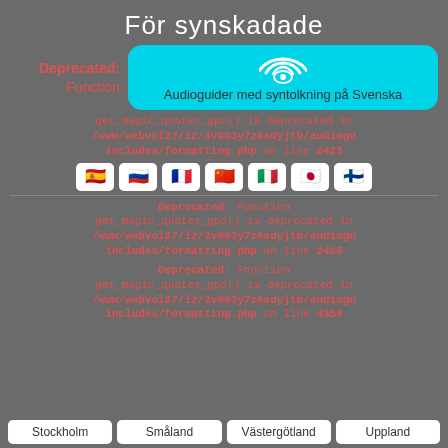För synskadade
[Figure (illustration): Cyan rounded rectangle button with wifi/eye icon and text 'Audioguider med syntolkning på Svenska']
Deprecated: Function get_magic_quotes_gpc() is deprecated in /www/webvol27/lz/3v003y7z6adyjtb/audiogu includes/formatting.php on line 2425
[Figure (illustration): Row of 7 country flag icons: Spain, Russia, France, China, Italy, Japan, Finland]
Deprecated: Function get_magic_quotes_gpc() is deprecated in /www/webvol27/lz/3v003y7z6adyjtb/audiogu includes/formatting.php on line 2425
Deprecated: Function get_magic_quotes_gpc() is deprecated in /www/webvol27/lz/3v003y7z6adyjtb/audiogu includes/formatting.php on line 4358
Stockholm
Småland
Västergötland
Uppland